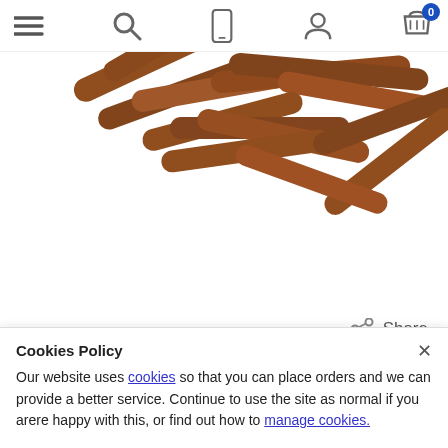Navigation bar with menu, search, phone, account, and basket icons
[Figure (photo): Brown felt tip sticks/pins scattered on white background — product photo for Heimerle + Meule Felt Tips Pack of 20]
Share
Heimerle + Meule Felt Tips Pack of 20
Cookies Policy
Our website uses cookies so that you can place orders and we can provide a better service. Continue to use the site as normal if you arere happy with this, or find out how to manage cookies.